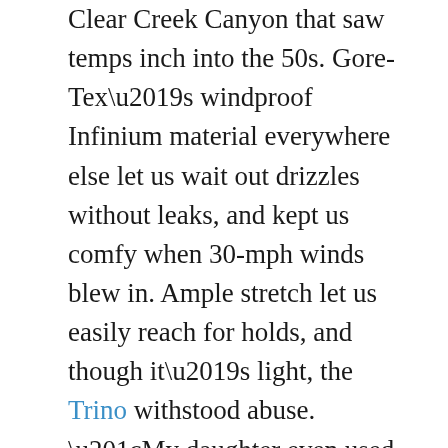Clear Creek Canyon that saw temps inch into the 50s. Gore-Tex’s windproof Infinium material everywhere else let us wait out drizzles without leaks, and kept us comfy when 30-mph winds blew in. Ample stretch let us easily reach for holds, and though it’s light, the Trino withstood abuse. “My daughter even used it as a sled on multiple glissades, and it looks new,” one tester says.
The details Fit is trim, with room for just a baselayer underneath. The streamlined design offers a one-way adjustable hood (it fits under a helmet) and cinchable hem that both defy wintry winds, plus hand pockets. Note: The anorak-style women’s version is tricky to pull on because of its slim cut (but fits well once you do); the men’s has a full zip.